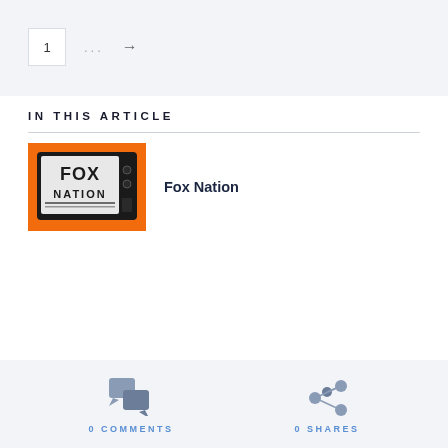1  ...  →
IN THIS ARTICLE
[Figure (logo): Fox Nation logo on a vintage television set with orange border background]
Fox Nation
0 COMMENTS
0 SHARES